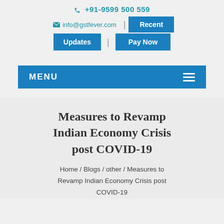+91-9599 500 559
info@gstfever.com | Recent Updates | Pay Now
MENU
Measures to Revamp Indian Economy Crisis post COVID-19
Home / Blogs / other / Measures to Revamp Indian Economy Crisis post COVID-19